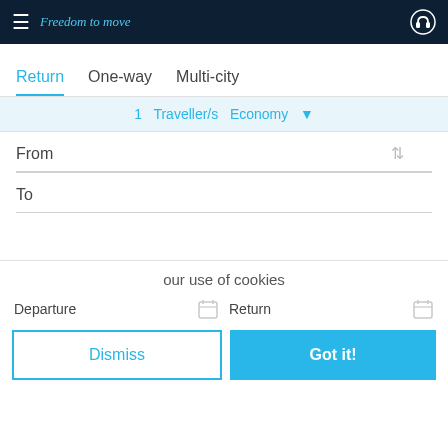Freedom to move
Return  One-way  Multi-city
1  Traveller/s  Economy ▼
From
To
our use of cookies
Departure
Return
Dismiss
Got it!